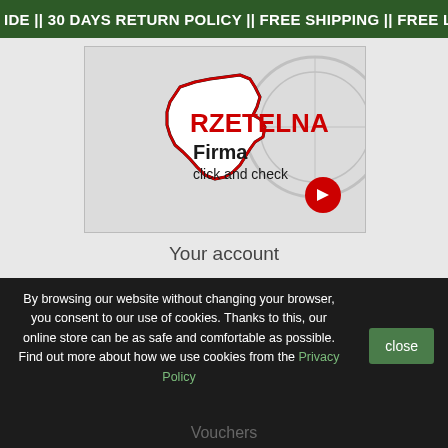IDE || 30 DAYS RETURN POLICY || FREE SHIPPING || FREE LA
[Figure (logo): Rzetelna Firma badge with Poland map outline in black and red, text 'RZETELNA Firma click and check' with red arrow button]
Your account
Personal info
Merchandise returns
Orders
By browsing our website without changing your browser, you consent to our use of cookies. Thanks to this, our online store can be as safe and comfortable as possible. Find out more about how we use cookies from the Privacy Policy
close